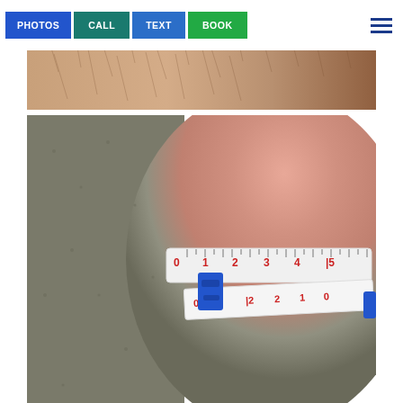[Figure (photo): Navigation bar with four colored buttons: PHOTOS (blue), CALL (teal), TEXT (blue), BOOK (green), and a hamburger menu icon on the right. Below the nav bar, a partial medical/clinical photo showing skin with body hair. Below that, a close-up clinical photo of a circumference measurement being taken with a white measuring tape showing numbers 0-5 and a blue clasp/clip device.]
[Figure (photo): Close-up clinical photograph of a measuring tape wrapped around a cylindrical body part for circumference measurement. The white tape shows incremental markings with red numbers (0, 1, 2, 3, 4, 5 on top row and 0, 1, 2 visible on reverse side). A blue plastic clasp/buckle device secures the tape. Background is grey carpet texture.]